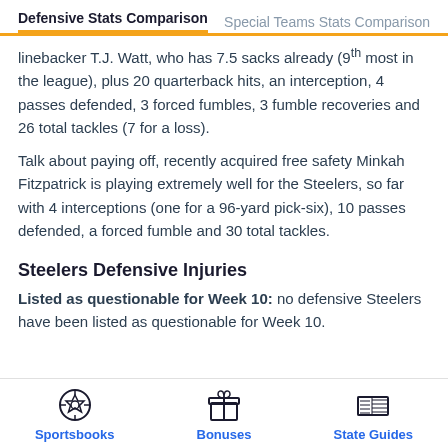Defensive Stats Comparison   Special Teams Stats Comparison
linebacker T.J. Watt, who has 7.5 sacks already (9th most in the league), plus 20 quarterback hits, an interception, 4 passes defended, 3 forced fumbles, 3 fumble recoveries and 26 total tackles (7 for a loss).
Talk about paying off, recently acquired free safety Minkah Fitzpatrick is playing extremely well for the Steelers, so far with 4 interceptions (one for a 96-yard pick-six), 10 passes defended, a forced fumble and 30 total tackles.
Steelers Defensive Injuries
Listed as questionable for Week 10: no defensive Steelers have been listed as questionable for Week 10.
Sportsbooks   Bonuses   State Guides